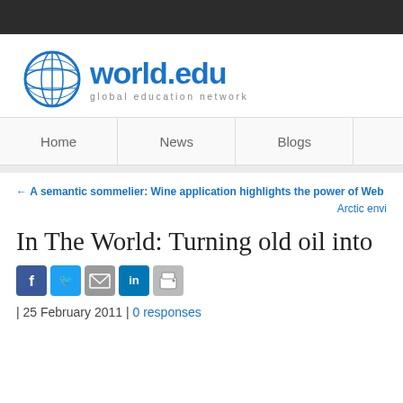[Figure (logo): world.edu global education network logo with blue globe icon]
Home | News | Blogs
← A semantic sommelier: Wine application highlights the power of Web 3.0   Arctic envi...
In The World: Turning old oil into
[Figure (infographic): Social share icons: Facebook, Twitter, Email, LinkedIn, Print]
| 25 February 2011 | 0 responses